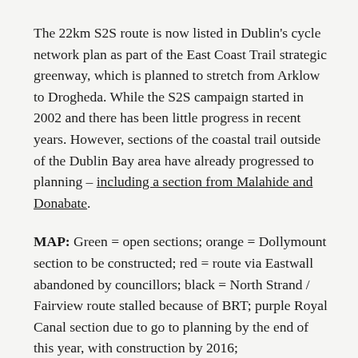The 22km S2S route is now listed in Dublin's cycle network plan as part of the East Coast Trail strategic greenway, which is planned to stretch from Arklow to Drogheda. While the S2S campaign started in 2002 and there has been little progress in recent years. However, sections of the coastal trail outside of the Dublin Bay area have already progressed to planning – including a section from Malahide and Donabate.
MAP: Green = open sections; orange = Dollymount section to be constructed; red = route via Eastwall abandoned by councillors; black = North Strand / Fairview route stalled because of BRT; purple Royal Canal section due to go to planning by the end of this year, with construction by 2016;